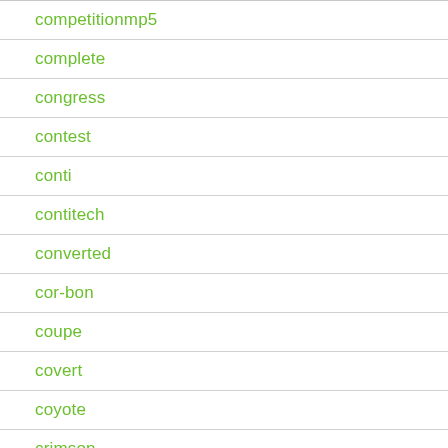| competitionmp5 |
| complete |
| congress |
| contest |
| conti |
| contitech |
| converted |
| cor-bon |
| coupe |
| covert |
| coyote |
| crimson |
| cross |